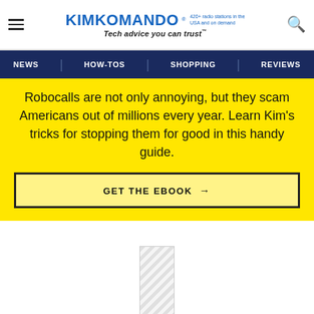KIMKOMANDO® 420+ radio stations in the USA and on demand | Tech advice you can trust™
NEWS | HOW-TOS | SHOPPING | REVIEWS
Robocalls are not only annoying, but they scam Americans out of millions every year. Learn Kim's tricks for stopping them for good in this handy guide.
GET THE EBOOK →
[Figure (other): Placeholder image area below the yellow promo block]